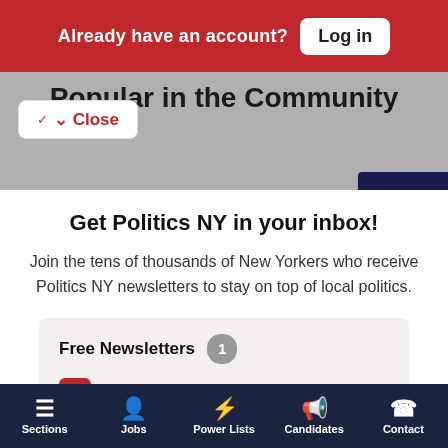Already have an account? Log in
Popular in the Community
Close
Get Politics NY in your inbox!
Join the tens of thousands of New Yorkers who receive Politics NY newsletters to stay on top of local politics.
Free Newsletters 1
Politics NY
Sections  Jobs  Power Lists  Candidates  Contact